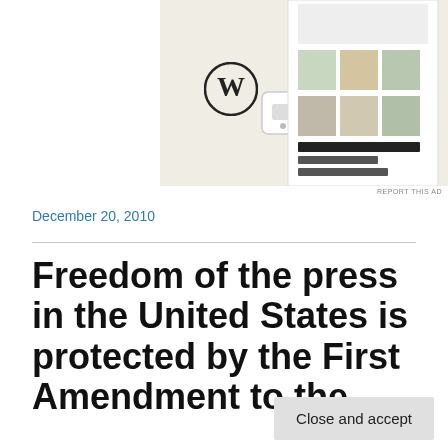[Figure (screenshot): Advertisement banner showing WordPress logo and food/recipe website mockup on mobile device]
REPORT THIS AD
December 20, 2010
Freedom of the press in the United States is protected by the First Amendment to the
Privacy & Cookies: This site uses cookies. By continuing to use this website, you agree to their use.
To find out more, including how to control cookies, see here: Cookie Policy
Close and accept